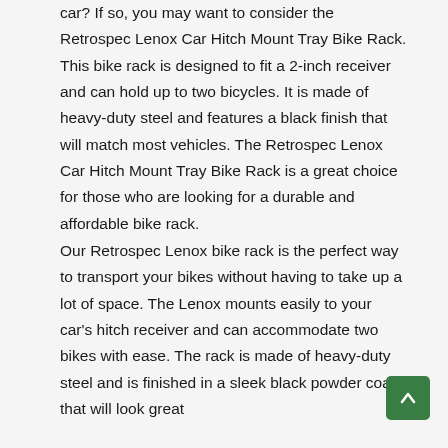car? If so, you may want to consider the Retrospec Lenox Car Hitch Mount Tray Bike Rack. This bike rack is designed to fit a 2-inch receiver and can hold up to two bicycles. It is made of heavy-duty steel and features a black finish that will match most vehicles. The Retrospec Lenox Car Hitch Mount Tray Bike Rack is a great choice for those who are looking for a durable and affordable bike rack.
Our Retrospec Lenox bike rack is the perfect way to transport your bikes without having to take up a lot of space. The Lenox mounts easily to your car's hitch receiver and can accommodate two bikes with ease. The rack is made of heavy-duty steel and is finished in a sleek black powder coat that will look great with any vehicle. The rack also features built-